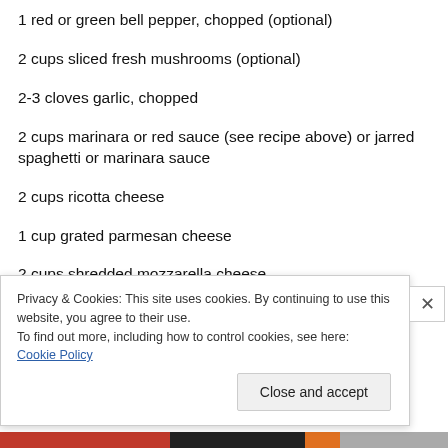1 red or green bell pepper, chopped (optional)
2 cups sliced fresh mushrooms (optional)
2-3 cloves garlic, chopped
2 cups marinara or red sauce (see recipe above) or jarred spaghetti or marinara sauce
2 cups ricotta cheese
1 cup grated parmesan cheese
2 cups shredded mozzarella cheese
Privacy & Cookies: This site uses cookies. By continuing to use this website, you agree to their use.
To find out more, including how to control cookies, see here: Cookie Policy